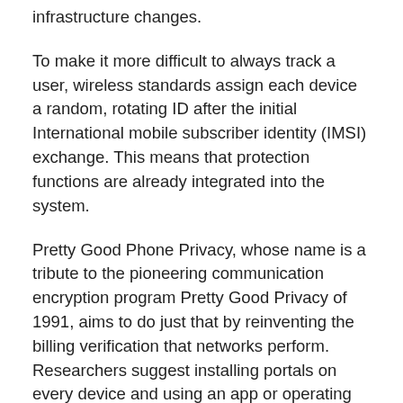infrastructure changes.
To make it more difficult to always track a user, wireless standards assign each device a random, rotating ID after the initial International mobile subscriber identity (IMSI) exchange. This means that protection functions are already integrated into the system.
Pretty Good Phone Privacy, whose name is a tribute to the pioneering communication encryption program Pretty Good Privacy of 1991, aims to do just that by reinventing the billing verification that networks perform. Researchers suggest installing portals on every device and using an app or operating system function that regularly checks with a billing server whether a user is in good condition.
The system would then release digital tokens that do not identify the specific device, but only indicate whether the